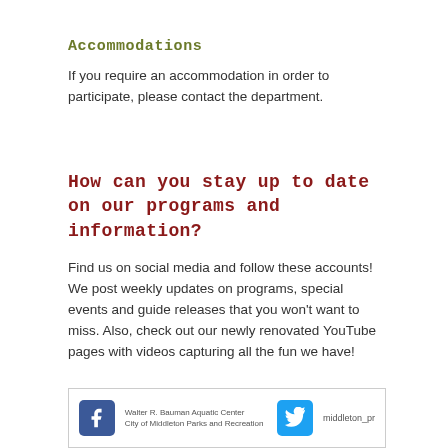Accommodations
If you require an accommodation in order to participate, please contact the department.
How can you stay up to date on our programs and information?
Find us on social media and follow these accounts! We post weekly updates on programs, special events and guide releases that you won’t want to miss. Also, check out our newly renovated YouTube pages with videos capturing all the fun we have!
[Figure (infographic): Social media icons box showing Facebook icon with text 'Walter R. Bauman Aquatic Center City of Middleton Parks and Recreation' and Twitter icon with handle 'middleton_pr']